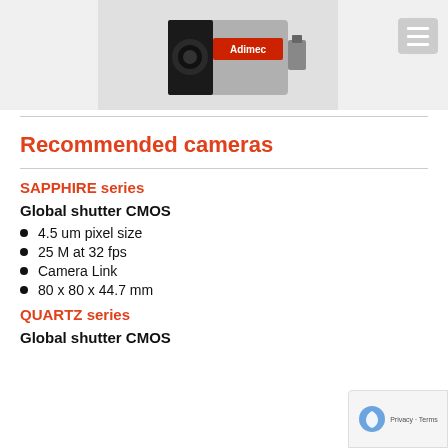[Figure (photo): Industrial camera product photo with Adimec branding on a light gray background]
Recommended cameras
SAPPHIRE series
Global shutter CMOS
4.5 um pixel size
25 M at 32 fps
Camera Link
80 x 80 x 44.7 mm
QUARTZ series
Global shutter CMOS